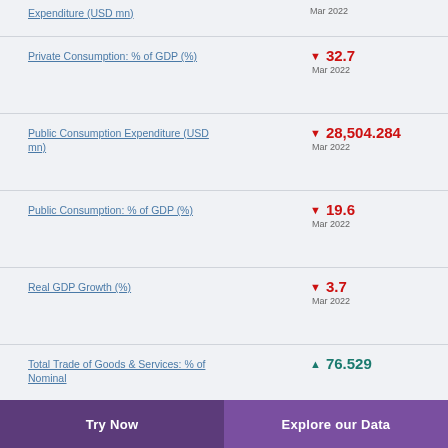Expenditure (USD mn) | Mar 2022 (partial, top of page)
Private Consumption: % of GDP (%) ▼ 32.7 Mar 2022
Public Consumption Expenditure (USD mn) ▼ 28,504.284 Mar 2022
Public Consumption: % of GDP (%) ▼ 19.6 Mar 2022
Real GDP Growth (%) ▼ 3.7 Mar 2022
Total Trade of Goods & Services: % of Nominal ▲ 76.529
Try Now | Explore our Data